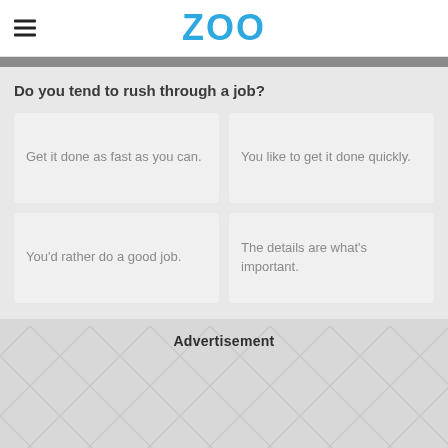ZOO
Do you tend to rush through a job?
Get it done as fast as you can.
You like to get it done quickly.
You'd rather do a good job.
The details are what's important.
Advertisement